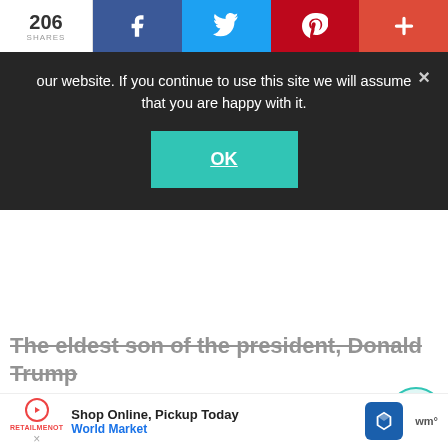206 SHARES | Facebook | Twitter | Pinterest | +
our website. If you continue to use this site we will assume that you are happy with it.
OK
The eldest son of the president, Donald Trump Jnr is multilingual. He speaks three languages.
English is his mother tongue. He speaks French, which he learned at school, and he is fluent in Czech, his mother's native language. Donald Jr spent a lot of time with his maternal grandparents, who lived with their family while he was young, six months out of a year.
WHAT'S NEXT → Meet Bella Devyatkina,...
[Figure (other): Advertisement banner: Shop Online, Pickup Today - World Market, with navigation arrow icon]